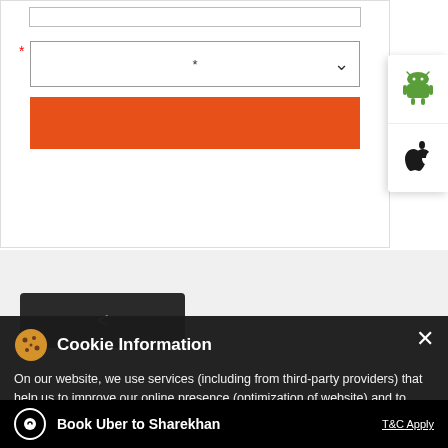[Figure (screenshot): Web form with dropdown selector, red asterisk required field marker, and orange submit button]
[Figure (screenshot): Android and Apple app store download buttons on right sidebar]
Cookie Information
On our website, we use services (including from third-party providers) that help us to improve our online presence (optimization of website) and to display content that is geared to their interests. We need your consent before being able to use these services.
#SharekhanResearch
Book Uber to Sharekhan
T&C Apply